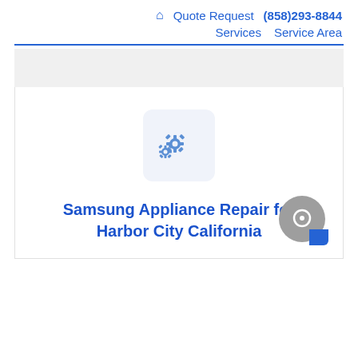🏠 Quote Request  (858)293-8844  Services  Service Area
[Figure (illustration): Two gear icons (settings/service symbol) on a light blue-gray rounded square background]
Samsung Appliance Repair for Harbor City California